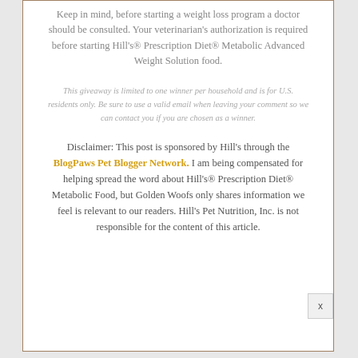Keep in mind, before starting a weight loss program a doctor should be consulted. Your veterinarian's authorization is required before starting Hill's® Prescription Diet® Metabolic Advanced Weight Solution food.
This giveaway is limited to one winner per household and is for U.S. residents only. Be sure to use a valid email when leaving your comment so we can contact you if you are chosen as a winner.
Disclaimer: This post is sponsored by Hill's through the BlogPaws Pet Blogger Network. I am being compensated for helping spread the word about Hill's® Prescription Diet® Metabolic Food, but Golden Woofs only shares information we feel is relevant to our readers. Hill's Pet Nutrition, Inc. is not responsible for the content of this article.